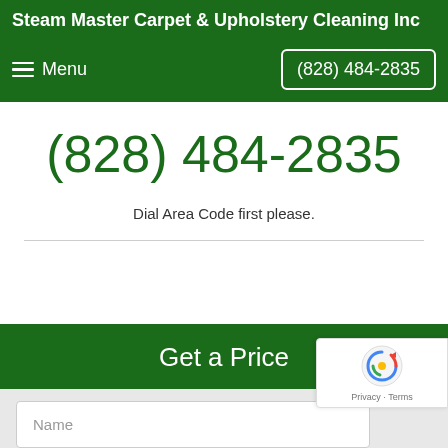Steam Master Carpet & Upholstery Cleaning Inc
Menu  (828) 484-2835
(828) 484-2835
Dial Area Code first please.
Get a Price